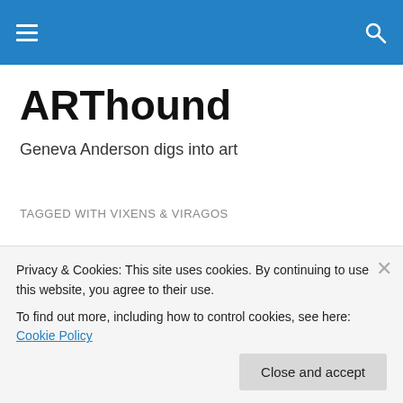ARThound — navigation bar with hamburger menu and search icon
ARThound
Geneva Anderson digs into art
TAGGED WITH VIXENS & VIRAGOS
Soprano Renée Fleming is in San Francisco for the next
Privacy & Cookies: This site uses cookies. By continuing to use this website, you agree to their use.
To find out more, including how to control cookies, see here: Cookie Policy
Close and accept